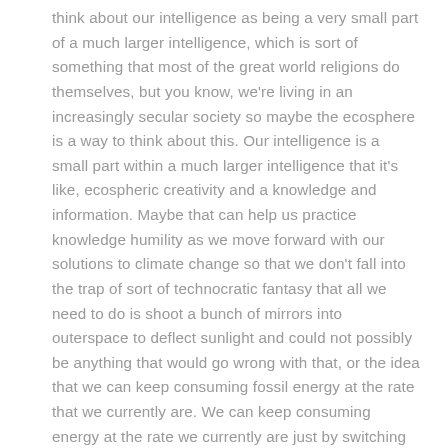think about our intelligence as being a very small part of a much larger intelligence, which is sort of something that most of the great world religions do themselves, but you know, we're living in an increasingly secular society so maybe the ecosphere is a way to think about this. Our intelligence is a small part within a much larger intelligence that it's like, ecospheric creativity and a knowledge and information. Maybe that can help us practice knowledge humility as we move forward with our solutions to climate change so that we don't fall into the trap of sort of technocratic fantasy that all we need to do is shoot a bunch of mirrors into outerspace to deflect sunlight and could not possibly be anything that would go wrong with that, or the idea that we can keep consuming fossil energy at the rate that we currently are. We can keep consuming energy at the rate we currently are just by switching to renewables or something. The same group of scientists is saying that seems like a very optimistic perspective, given the data. So by practicing a little knowledge humility, we might have to force ourselves to say we, we can't do all of this. We have to do less and we have to somehow scale